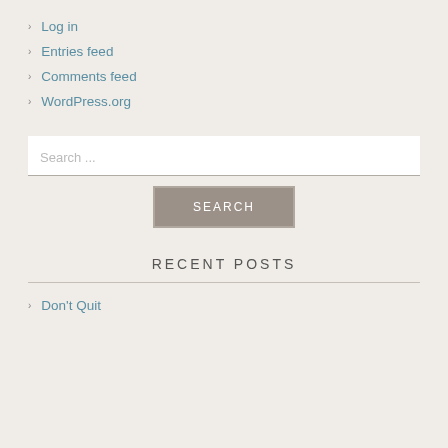Log in
Entries feed
Comments feed
WordPress.org
Search ...
RECENT POSTS
Don't Quit